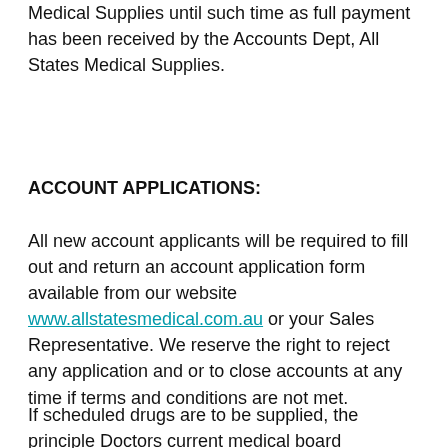Medical Supplies until such time as full payment has been received by the Accounts Dept, All States Medical Supplies.
ACCOUNT APPLICATIONS:
All new account applicants will be required to fill out and return an account application form available from our website www.allstatesmedical.com.au or your Sales Representative. We reserve the right to reject any application and or to close accounts at any time if terms and conditions are not met.
If scheduled drugs are to be supplied, the principle Doctors current medical board